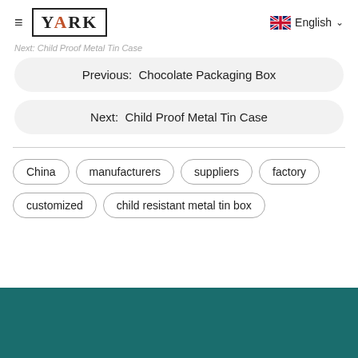≡ YARK | English
Next: Child Proof Metal Tin Case (breadcrumb partial)
Previous:  Chocolate Packaging Box
Next:  Child Proof Metal Tin Case
China
manufacturers
suppliers
factory
customized
child resistant metal tin box